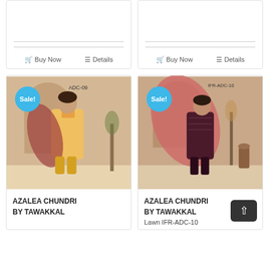[Figure (other): Top-left partial product card with Buy Now and Details buttons]
[Figure (other): Top-right partial product card with Buy Now and Details buttons]
[Figure (photo): Fashion product photo: woman in orange/yellow salwar kameez with red dupatta, ADC-09, Sale badge, left card]
AZALEA CHUNDRI BY TAWAKKAL
[Figure (photo): Fashion product photo: woman in dark red/maroon printed suit with pink dupatta, IFR-ADC-10, Sale badge, right card]
AZALEA CHUNDRI BY TAWAKKAL
Lawn IFR-ADC-10